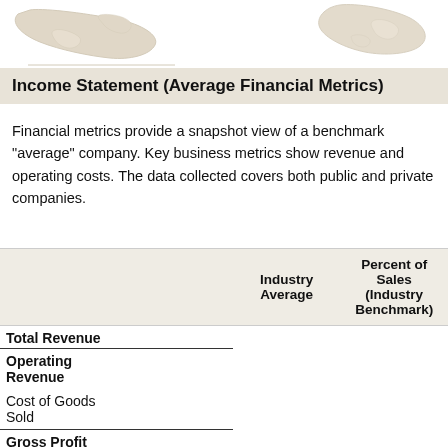[Figure (illustration): Decorative map/logo illustration at top of page showing stylized map outlines]
Income Statement (Average Financial Metrics)
Financial metrics provide a snapshot view of a benchmark "average" company. Key business metrics show revenue and operating costs. The data collected covers both public and private companies.
|  | Industry Average | Percent of Sales (Industry Benchmark) |
| --- | --- | --- |
| Total Revenue |  |  |
| Operating Revenue |  |  |
| Cost of Goods Sold |  |  |
| Gross Profit |  |  |
|  |  |  |
| Operating Expenses |  |  |
| Pension, profit sharing plans, |  |  |